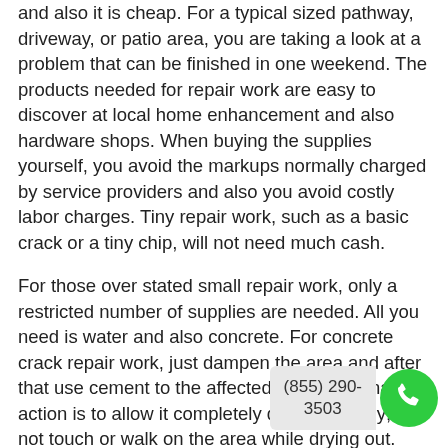and also it is cheap. For a typical sized pathway, driveway, or patio area, you are taking a look at a problem that can be finished in one weekend. The products needed for repair work are easy to discover at local home enhancement and also hardware shops. When buying the supplies yourself, you avoid the markups normally charged by service providers and also you avoid costly labor charges. Tiny repair work, such as a basic crack or a tiny chip, will not need much cash.
For those over stated small repair work, only a restricted number of supplies are needed. All you need is water and also concrete. For concrete crack repair work, just dampen the area and after that use cement to the affected area. The final action is to allow it completely dry completely; do not touch or walk on the area while drying out. The end result is a tiny, simple repair service that only took about hours worth of your time at an ge friendly price.